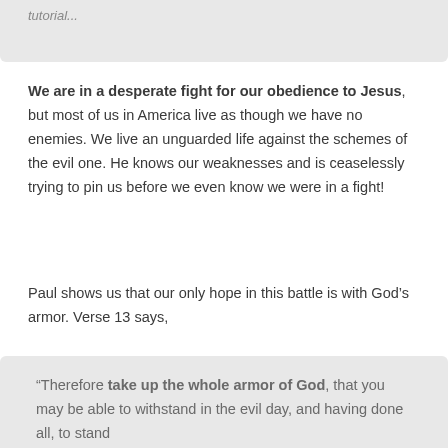tutorial...
We are in a desperate fight for our obedience to Jesus, but most of us in America live as though we have no enemies. We live an unguarded life against the schemes of the evil one. He knows our weaknesses and is ceaselessly trying to pin us before we even know we were in a fight!
Paul shows us that our only hope in this battle is with God's armor. Verse 13 says,
“Therefore take up the whole armor of God, that you may be able to withstand in the evil day, and having done all, to stand